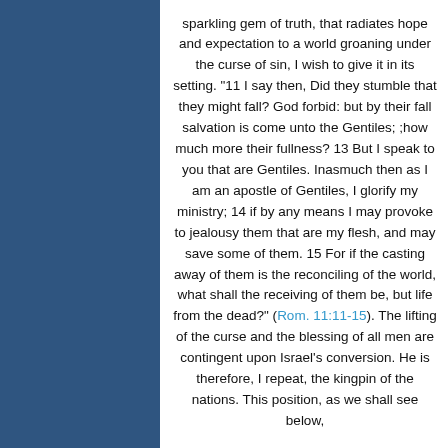sparkling gem of truth, that radiates hope and expectation to a world groaning under the curse of sin, I wish to give it in its setting. "11 I say then, Did they stumble that they might fall? God forbid: but by their fall salvation is come unto the Gentiles; ;how much more their fullness? 13 But I speak to you that are Gentiles. Inasmuch then as I am an apostle of Gentiles, I glorify my ministry; 14 if by any means I may provoke to jealousy them that are my flesh, and may save some of them. 15 For if the casting away of them is the reconciling of the world, what shall the receiving of them be, but life from the dead?" (Rom. 11:11-15). The lifting of the curse and the blessing of all men are contingent upon Israel's conversion. He is therefore, I repeat, the kingpin of the nations. This position, as we shall see below,